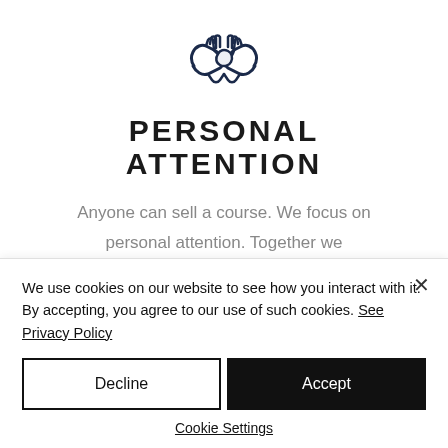[Figure (illustration): Handshake icon in dark navy blue, representing personal attention]
PERSONAL ATTENTION
Anyone can sell a course. We focus on personal attention. Together we transfor you into that profitable trader you deserve to be.
We use cookies on our website to see how you interact with it. By accepting, you agree to our use of such cookies. See Privacy Policy
Decline
Accept
Cookie Settings